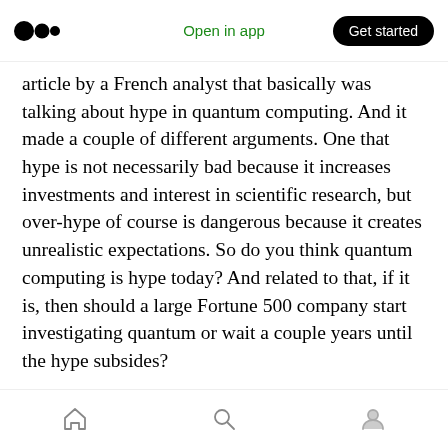Open in app | Get started
article by a French analyst that basically was talking about hype in quantum computing. And it made a couple of different arguments. One that hype is not necessarily bad because it increases investments and interest in scientific research, but over-hype of course is dangerous because it creates unrealistic expectations. So do you think quantum computing is hype today? And related to that, if it is, then should a large Fortune 500 company start investigating quantum or wait a couple years until the hype subsides?
James: This is a tricky question because people
Home | Search | Profile